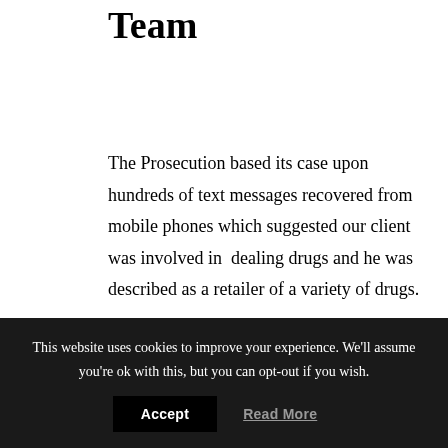The Facts | Rangs Criminal Team
The Prosecution based its case upon hundreds of text messages recovered from mobile phones which suggested our client was involved in dealing drugs and he was described as a retailer of a variety of drugs.
Our client acknowledged limited involvement in the criminal activity, but not to the extent alleged by the Prosecution and he had been dealing limited amounts of
This website uses cookies to improve your experience. We'll assume you're ok with this, but you can opt-out if you wish.